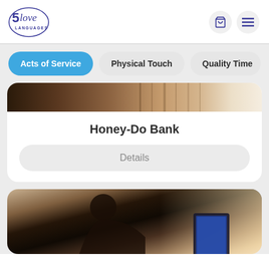[Figure (logo): 5 Love Languages logo with circular border and purple text]
[Figure (other): Shopping cart icon and hamburger menu icon in top right]
Acts of Service
Physical Touch
Quality Time
[Figure (photo): Partial image of books/wooden furniture at the top of a card]
Honey-Do Bank
Details
[Figure (photo): Person leaning over a tablet near a window with curtains]